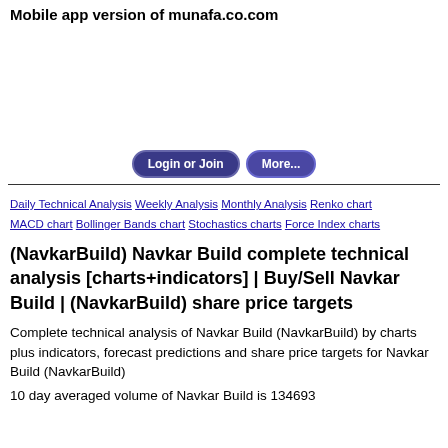Mobile app version of munafa.co.com
[Figure (other): Advertisement area (blank white space)]
Login or Join   More...
Daily Technical Analysis Weekly Analysis Monthly Analysis Renko chart MACD chart Bollinger Bands chart Stochastics charts Force Index charts
(NavkarBuild) Navkar Build complete technical analysis [charts+indicators] | Buy/Sell Navkar Build | (NavkarBuild) share price targets
Complete technical analysis of Navkar Build (NavkarBuild) by charts plus indicators, forecast predictions and share price targets for Navkar Build (NavkarBuild)
10 day averaged volume of Navkar Build is 134693